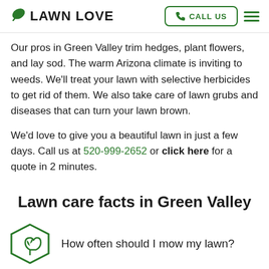LAWN LOVE | CALL US
Our pros in Green Valley trim hedges, plant flowers, and lay sod. The warm Arizona climate is inviting to weeds. We'll treat your lawn with selective herbicides to get rid of them. We also take care of lawn grubs and diseases that can turn your lawn brown.
We'd love to give you a beautiful lawn in just a few days. Call us at 520-999-2652 or click here for a quote in 2 minutes.
Lawn care facts in Green Valley
How often should I mow my lawn?